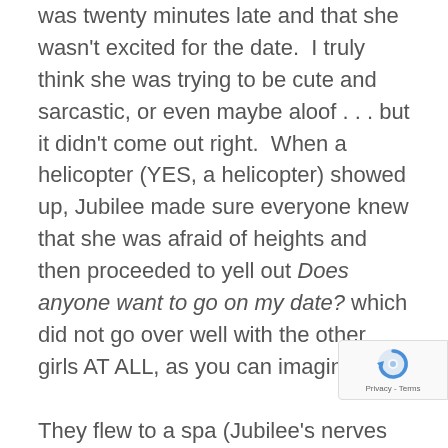was twenty minutes late and that she wasn't excited for the date. I truly think she was trying to be cute and sarcastic, or even maybe aloof . . . but it didn't come out right. When a helicopter (YES, a helicopter) showed up, Jubilee made sure everyone knew that she was afraid of heights and then proceeded to yell out Does anyone want to go on my date? which did not go over well with the other girls AT ALL, as you can imagine.

They flew to a spa (Jubilee's nerves lessened in the helicopter because Ben's hand was on her knee – be still my hea… The spa was gorgeous and exactly m… type of date. There were snacks to start
[Figure (other): Google reCAPTCHA badge with spinning arrow logo and Privacy - Terms text]